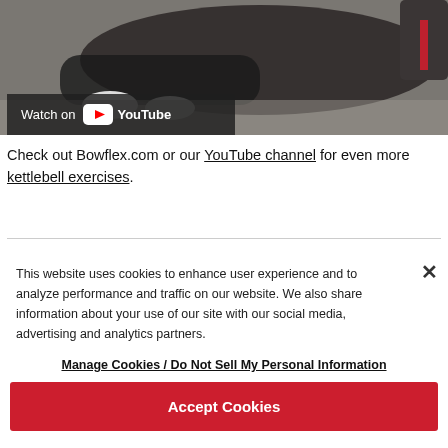[Figure (screenshot): YouTube video thumbnail showing a person doing kettlebell exercises on the floor, with a 'Watch on YouTube' overlay bar in the lower left]
Check out Bowflex.com or our YouTube channel for even more kettlebell exercises.
This website uses cookies to enhance user experience and to analyze performance and traffic on our website. We also share information about your use of our site with our social media, advertising and analytics partners.
Manage Cookies / Do Not Sell My Personal Information
Accept Cookies